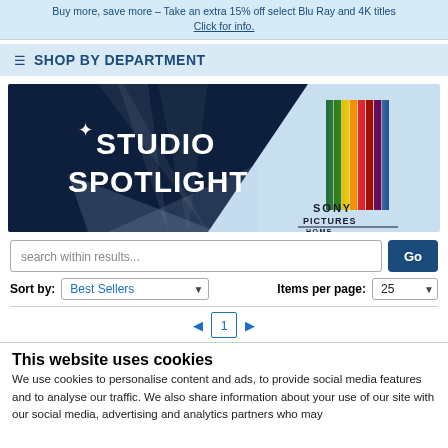Buy more, save more – Take an extra 15% off select Blu Ray and 4K titles Click for info.
☰ SHOP BY DEPARTMENT
[Figure (illustration): Studio Spotlight banner featuring Sony Pictures Home Entertainment logo with colorful film strip graphic on light blue background and dark navy triangle on left with white spotlight beams]
search within results...
Sort by: Best Sellers    Items per page: 25
◄ 1 ►
This website uses cookies
We use cookies to personalise content and ads, to provide social media features and to analyse our traffic. We also share information about your use of our site with our social media, advertising and analytics partners who may